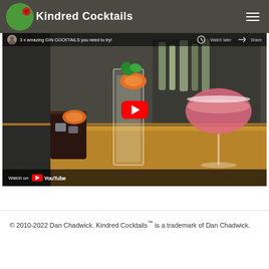Kindred Cocktails
[Figure (screenshot): YouTube embedded video thumbnail showing three gin cocktails on a wooden bar counter: a dark cocktail with orange slice in a rocks glass, a tall clear highball with orange slice and mint garnish, and a pink coupe glass. Video title: '3 x amazing GIN COCKTAILS you need to try!' with a red YouTube play button in the center. 'Watch on YouTube' bar at the bottom.]
© 2010-2022 Dan Chadwick. Kindred Cocktails™ is a trademark of Dan Chadwick.